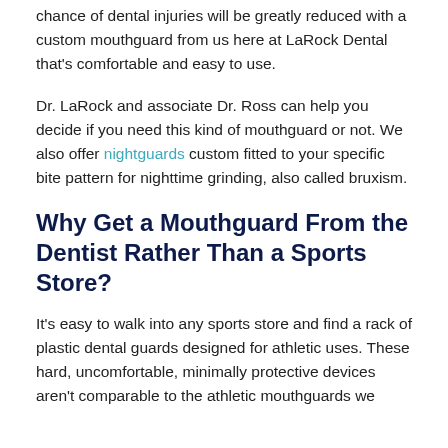chance of dental injuries will be greatly reduced with a custom mouthguard from us here at LaRock Dental that's comfortable and easy to use.
Dr. LaRock and associate Dr. Ross can help you decide if you need this kind of mouthguard or not. We also offer nightguards custom fitted to your specific bite pattern for nighttime grinding, also called bruxism.
Why Get a Mouthguard From the Dentist Rather Than a Sports Store?
It's easy to walk into any sports store and find a rack of plastic dental guards designed for athletic uses. These hard, uncomfortable, minimally protective devices aren't comparable to the athletic mouthguards we